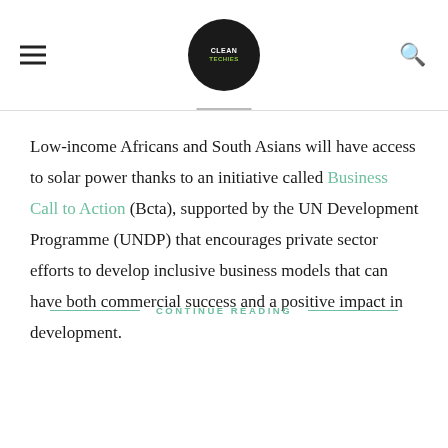CLEANTECHIES [logo]
Low-income Africans and South Asians will have access to solar power thanks to an initiative called Business Call to Action (Bcta), supported by the UN Development Programme (UNDP) that encourages private sector efforts to develop inclusive business models that can have both commercial success and a positive impact in development.
CONTINUE READING